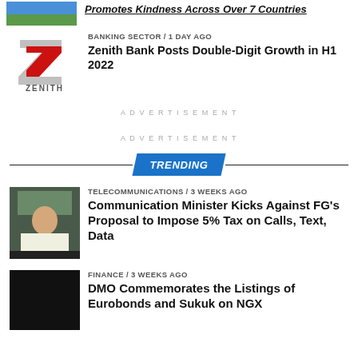[Figure (photo): Cropped top image thumbnail with blue sky and green field]
Promotes Kindness Across Over 7 Countries
[Figure (logo): Zenith Bank logo with red Z and grey ZENITH text]
BANKING SECTOR / 1 day ago
Zenith Bank Posts Double-Digit Growth in H1 2022
ADVERTISEMENT
ADVERTISEMENT
TRENDING
[Figure (photo): Photo of Communication Minister]
TELECOMMUNICATIONS / 3 weeks ago
Communication Minister Kicks Against FG's Proposal to Impose 5% Tax on Calls, Text, Data
[Figure (photo): Dark/black image thumbnail]
FINANCE / 3 weeks ago
DMO Commemorates the Listings of Eurobonds and Sukuk on NGX